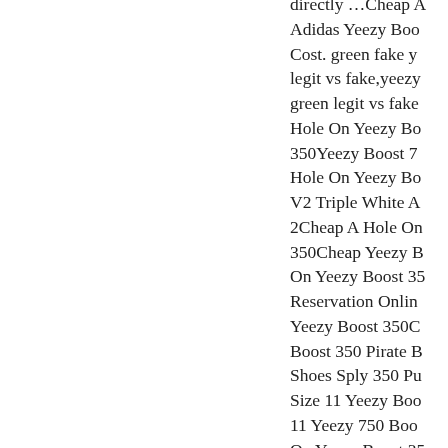directly …Cheap Adidas Yeezy Boost Cost. green fake yeezy legit vs fake,yeezy green legit vs fake Hole On Yeezy Boost 350Yeezy Boost 7 Hole On Yeezy Boost V2 Triple White A 2Cheap A Hole On 350Cheap Yeezy B On Yeezy Boost 35 Reservation Online Yeezy Boost 350C Boost 350 Pirate B Shoes Sply 350 Pu Size 11 Yeezy Boo 11 Yeezy 750 Boo On Yeezy Boost 35 Style Yeezy 700 In On Yeezy Boost 35 QueueCheap A Ho Dry clean or gentle order to be deliver if you have any.Ch